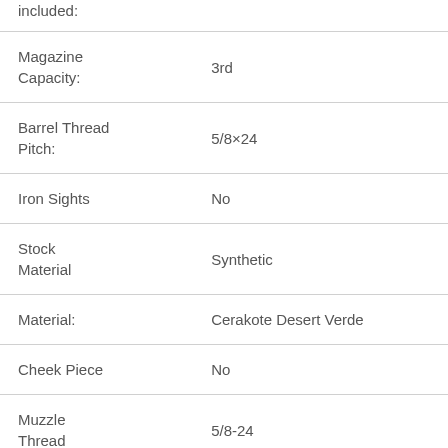| Property | Value |
| --- | --- |
| included: |  |
| Magazine Capacity: | 3rd |
| Barrel Thread Pitch: | 5/8×24 |
| Iron Sights | No |
| Stock Material | Synthetic |
| Material: | Cerakote Desert Verde |
| Cheek Piece | No |
| Muzzle Thread | 5/8-24 |